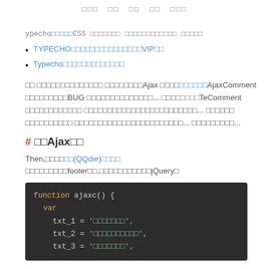□□□  □□  □□  □□  □□□
ypecho□□□□□CSS □□□□□□□ □□□□□□□□□□□□ □□□□□
TYPECHO□□□□□□□□□□□□□□□VIP□□
Typecho□□□□□□□□□□□□□
□□ □□□□□□□□□□□□□□ □□□□□□□□Ajax □□□□□□□□□□AjaxComment □□□□□□□□□BUG □□□□□□□□□□□□□□... □□□□□□□□□TeComment □□□□□□□□□□□□ □□□□□□□□□□□□□□□□□□□□□ □□□□□□□□□□□□□□□... □□□□□□ □□□□□□□□□□ □□□□□□□□□□□□□□□□□□□□□□□... □□□□□□□□□...
# □□Ajax□□
Then,□□□□□□(QQdie)□□□□ □□□□□□□□□footer□□,□□□□□□□□□□□jQuery□
[Figure (screenshot): Code block showing JavaScript function ajaxc() with var declarations for txt_1, txt_2, txt_3 with string values]